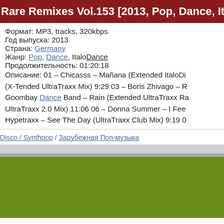Rare Remixes Vol.153 [2013, Pop, Dance, ItaloDi
Формат: MP3, tracks, 320kbps
Год выпуска: 2013
Страна: Germany
Жанр: Pop, Dance, ItaloDance
Продолжительность: 01:20:18
Описание: 01 – Chicasss – Mañana (Extended ItaloDi (X-Tended UltraTraxx Mix) 9:29 03 – Boris Zhivago – R Goombay Dance Band – Rain (Extended UltraTraxx Ra UltraTraxx 2.0 Mix) 11:06 06 – Donna Summer – I Fee Hypetraxx – See The Day (UltraTraxx Club Mix) 9:19 0
Disco / Synthpop / Зарубежная Поп-музыка